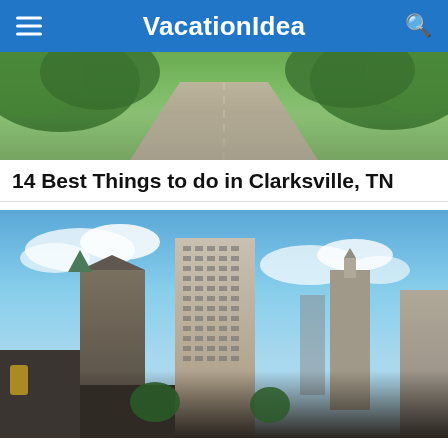VacationIdea
[Figure (photo): A scenic country road flanked by green trees with dappled light]
14 Best Things to do in Clarksville, TN
[Figure (photo): Downtown Tulsa skyline with tall buildings under a blue sky with clouds]
Where to Stay in Tulsa - 15 Best Romantic Getaways